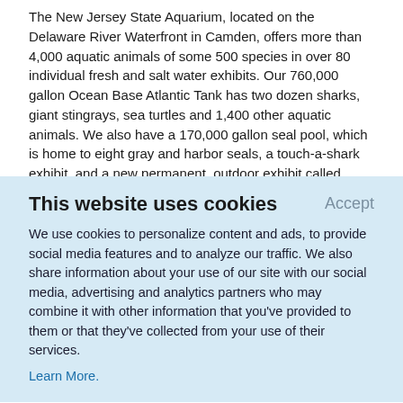The New Jersey State Aquarium, located on the Delaware River Waterfront in Camden, offers more than 4,000 aquatic animals of some 500 species in over 80 individual fresh and salt water exhibits. Our 760,000 gallon Ocean Base Atlantic Tank has two dozen sharks, giant stingrays, sea turtles and 1,400 other aquatic animals. We also have a 170,000 gallon seal pool, which is home to eight gray and harbor seals, a touch-a-shark exhibit, and a new permanent, outdoor exhibit called Inguza Island, featuring African Penguins.
This website uses cookies
Accept
We use cookies to personalize content and ads, to provide social media features and to analyze our traffic. We also share information about your use of our site with our social media, advertising and analytics partners who may combine it with other information that you've provided to them or that they've collected from your use of their services.
Learn More.
variety of animals, from black bears weighing up to 800